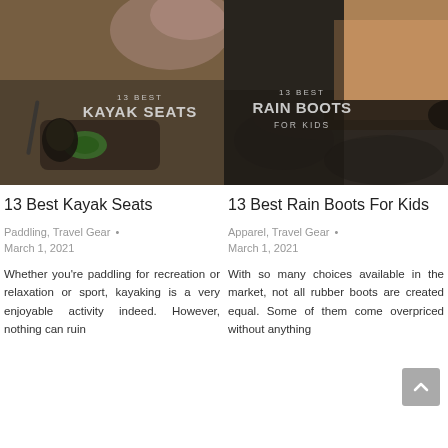[Figure (photo): Kayak with seat and paddle near water with pink blossoms in background, overlay text '13 BEST KAYAK SEATS']
[Figure (photo): Close-up of boots on rocky surface, overlay text '13 BEST RAIN BOOTS FOR KIDS']
13 Best Kayak Seats
13 Best Rain Boots For Kids
Paddling, Travel Gear • March 1, 2021
Apparel, Travel Gear • March 1, 2021
Whether you're paddling for recreation or relaxation or sport, kayaking is a very enjoyable activity indeed. However, nothing can ruin
With so many choices available in the market, not all rubber boots are created equal. Some of them come overpriced without anything